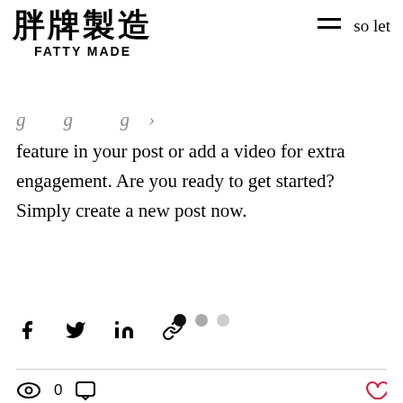胖牌製造 FATTY MADE
…so let feature in your post or add a video for extra engagement. Are you ready to get started? Simply create a new post now.
[Figure (infographic): Social share icons: Facebook, Twitter, LinkedIn, link icon]
[Figure (infographic): Stats bar with eye icon showing 0 views, comment bubble icon, and a red heart/like button]
[Figure (infographic): Pagination dots: one black filled, one medium gray, one light gray]